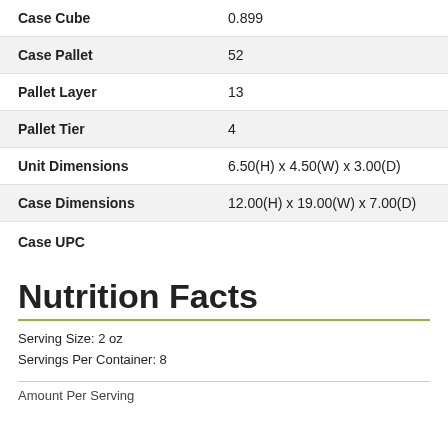| Field | Value |
| --- | --- |
| Case Cube | 0.899 |
| Case Pallet | 52 |
| Pallet Layer | 13 |
| Pallet Tier | 4 |
| Unit Dimensions | 6.50(H) x 4.50(W) x 3.00(D) |
| Case Dimensions | 12.00(H) x 19.00(W) x 7.00(D) |
| Case UPC |  |
Nutrition Facts
Serving Size: 2 oz
Servings Per Container: 8
Amount Per Serving